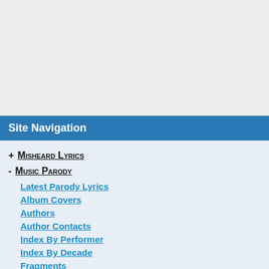Site Navigation
+ Misheard Lyrics
- Music Parody
Latest Parody Lyrics
Album Covers
Authors
Author Contacts
Index By Performer
Index By Decade
Fragments
Latest Comments
New Entries